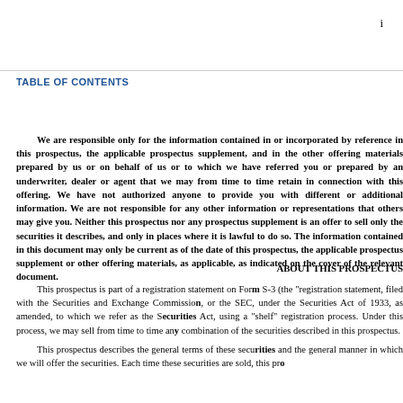i
TABLE OF CONTENTS
We are responsible only for the information contained in or incorporated by reference in this prospectus, the applicable prospectus supplement, and in the other offering materials prepared by us or on behalf of us or to which we have referred you or prepared by an underwriter, dealer or agent that we may from time to time retain in connection with this offering. We have not authorized anyone to provide you with different or additional information. We are not responsible for any other information or representations that others may give you. Neither this prospectus nor any prospectus supplement is an offer to sell only the securities it describes, and only in places where it is lawful to do so. The information contained in this document may only be current as of the date of this prospectus, the applicable prospectus supplement or other offering materials, as applicable, as indicated on the cover of the relevant document.
ABOUT THIS PROSPECTUS
This prospectus is part of a registration statement on Form S-3 (the "registration statement"), filed with the Securities and Exchange Commission, or the SEC, under the Securities Act of 1933, as amended, to which we refer as the Securities Act, using a "shelf" registration process. Under this process, we may sell from time to time any combination of the securities described in this prospectus.
This prospectus describes the general terms of these securities and the general manner in which we will offer the securities. Each time these securities are sold, this prospectus will be accompanied by a prospectus supplement that will describe the specific terms of the securities being offered at that time.